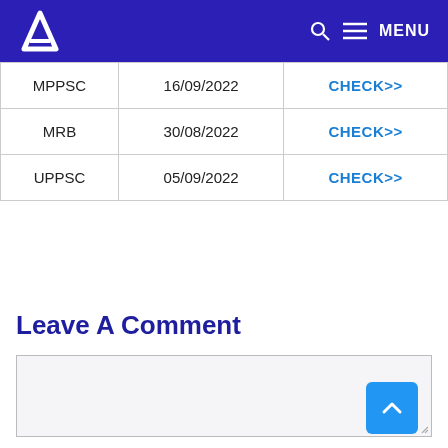A | MENU
|  |  |  |
| --- | --- | --- |
| MPPSC | 16/09/2022 | CHECK>> |
| MRB | 30/08/2022 | CHECK>> |
| UPPSC | 05/09/2022 | CHECK>> |
Leave A Comment